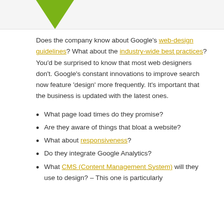Does the company know about Google's web-design guidelines? What about the industry-wide best practices? You'd be surprised to know that most web designers don't. Google's constant innovations to improve search now feature 'design' more frequently. It's important that the business is updated with the latest ones.
What page load times do they promise?
Are they aware of things that bloat a website?
What about responsiveness?
Do they integrate Google Analytics?
What CMS (Content Management System) will they use to design? – This one is particularly